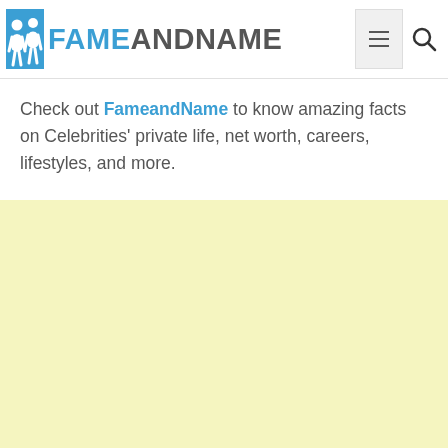[Figure (logo): FameandName website logo with two white figure icons on blue background and the text FAMEANDNAME in blue and gray uppercase letters]
Check out FameandName to know amazing facts on Celebrities' private life, net worth, careers, lifestyles, and more.
[Figure (other): Light yellow advertisement placeholder area]